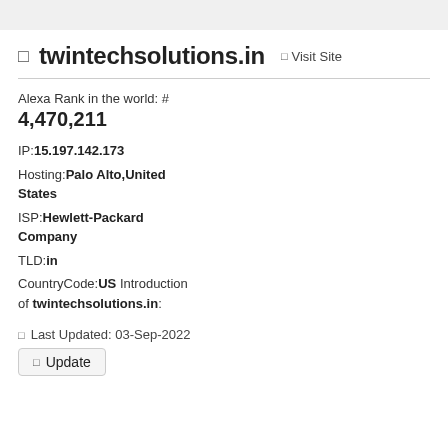twintechsolutions.in  Visit Site
Alexa Rank in the world: #
4,470,211
IP: 15.197.142.173
Hosting: Palo Alto,United States
ISP: Hewlett-Packard Company
TLD: in
CountryCode: US Introduction of twintechsolutions.in:
Last Updated: 03-Sep-2022
Update